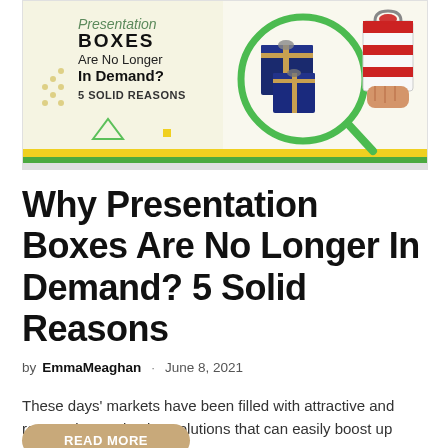[Figure (infographic): Promotional banner image for blog post about presentation boxes. Shows text 'Presentation BOXES Are No Longer In Demand? 5 SOLID REASONS' on the left side with decorative geometric shapes, and on the right side blue gift boxes wrapped with ribbon and a green magnifying glass circle, plus a hand holding a striped gift bag with red ribbon.]
Why Presentation Boxes Are No Longer In Demand? 5 Solid Reasons
by EmmaMeaghan · June 8, 2021
These days' markets have been filled with attractive and responsive packaging solutions that can easily boost up sales...
READ MORE